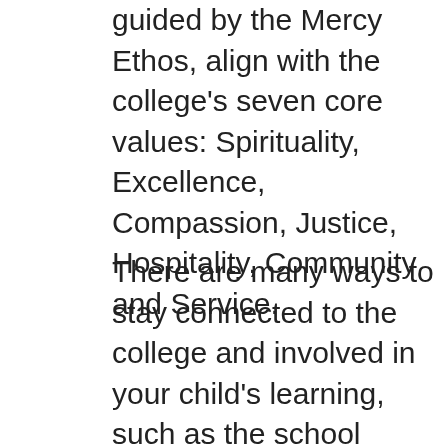guided by the Mercy Ethos, align with the college's seven core values: Spirituality, Excellence, Compassion, Justice, Hospitality, Community and Service.
There are many ways to stay connected to the college and involved in your child's learning, such as the school website, PAM, family events, Teacup Tuesday with the Principal, Skoolbag App, parent/teacher events, and the college's open-door policy.  I encourage you to take advantage of one of the many ways you can take an active role in your supporting your child's education and enriching the broader school community.  The members of the College Advisory Council encourage you to seek us out and discuss college-related matters so that all voices and perspectives can be represented in